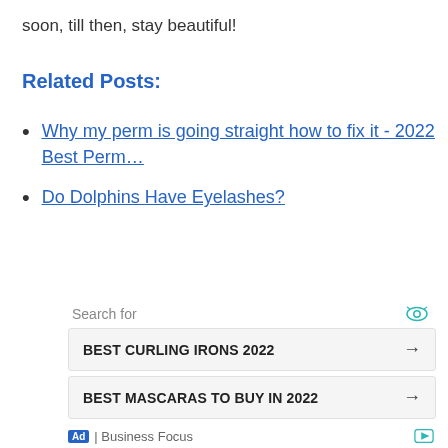soon, till then, stay beautiful!
Related Posts:
Why my perm is going straight how to fix it - 2022 Best Perm…
Do Dolphins Have Eyelashes?
[Figure (other): Advertisement widget with search label, eye icon, two search buttons (BEST CURLING IRONS 2022, BEST MASCARAS TO BUY IN 2022) with arrows, and Ad / Business Focus footer with play icon.]